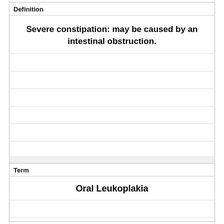Definition
Severe constipation: may be caused by an intestinal obstruction.
Term
Oral Leukoplakia